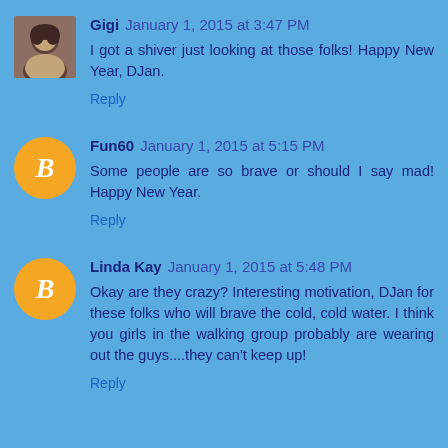Gigi  January 1, 2015 at 3:47 PM
I got a shiver just looking at those folks! Happy New Year, DJan.
Reply
Fun60  January 1, 2015 at 5:15 PM
Some people are so brave or should I say mad! Happy New Year.
Reply
Linda Kay  January 1, 2015 at 5:48 PM
Okay are they crazy? Interesting motivation, DJan for these folks who will brave the cold, cold water. I think you girls in the walking group probably are wearing out the guys....they can't keep up!
Reply